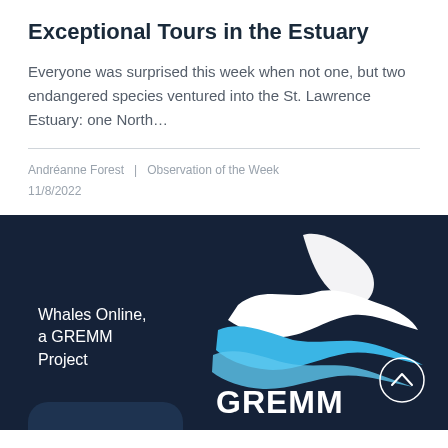Exceptional Tours in the Estuary
Everyone was surprised this week when not one, but two endangered species ventured into the St. Lawrence Estuary: one North…
Andréanne Forest  |  Observation of the Week
11/8/2022
[Figure (logo): GREMM logo with whale fin and wave design on dark navy background, with text 'Whales Online, a GREMM Project' and 'GREMM' wordmark]